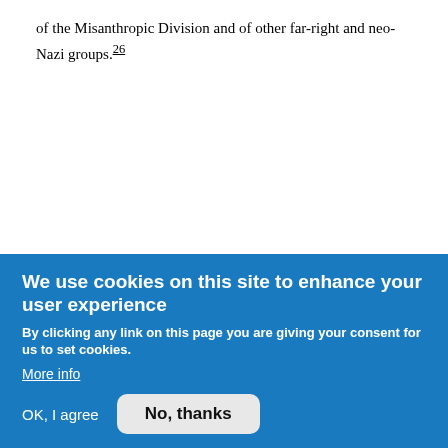of the Misanthropic Division and of other far-right and neo-Nazi groups.26
1. Antwort der Bundesregierung auf die Kleine Anfrage der Abgeordneten Ulla Jelpke, Andrej Hunko, Wolfgang Gehrcke, weiterer Abgeordneter und der Fraktion DIE LINKE – Drucksache 18/4308 – Der ukrainische Bürgerkrieg und die rechtsextreme Szene," Deutscher
We use cookies on this site to enhance your user experience
By clicking any link on this page you are giving your consent for us to set cookies.
More info
OK, I agree
No, thanks